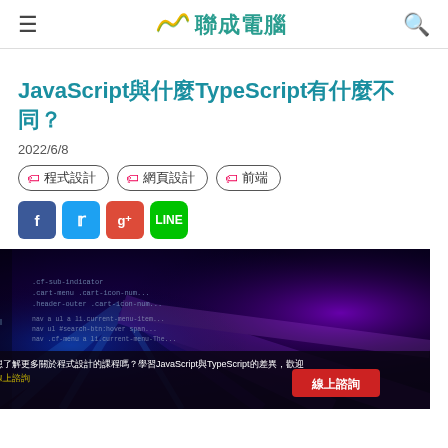聯成電腦
JavaScript與什麼TypeScript有什麼不同？
2022/6/8
程式設計
網頁設計
前端
[Figure (photo): Dark purple/blue tech background with code overlay, showing CSS/JS code snippets and a red button labeled '線上諮詢'. Text at bottom: '想了解更多關於程式設計的課程嗎？學習JavaScript與TypeScript的差異，歡迎 線上諮詢']